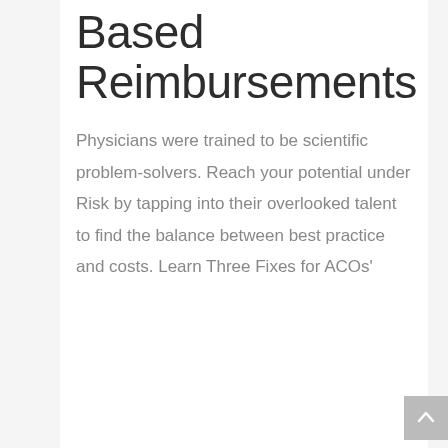[Figure (logo): ROJI Health Intelligence logo in orange/gold color]
Based Reimbursements
Physicians were trained to be scientific problem-solvers. Reach your potential under Risk by tapping into their overlooked talent to find the balance between best practice and costs. Learn Three Fixes for ACOs'